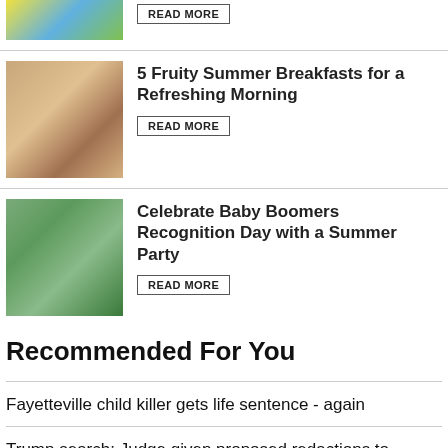[Figure (photo): Partial top image showing people in yellow and blue clothing, cropped at top]
READ MORE
[Figure (photo): Person eating or preparing food at a table outdoors]
5 Fruity Summer Breakfasts for a Refreshing Morning
READ MORE
[Figure (photo): Group of people at an outdoor barbecue party under trees]
Celebrate Baby Boomers Recognition Day with a Summer Party
READ MORE
Recommended For You
Fayetteville child killer gets life sentence - again
Trump search: Judge given proposed redactions to affidavit